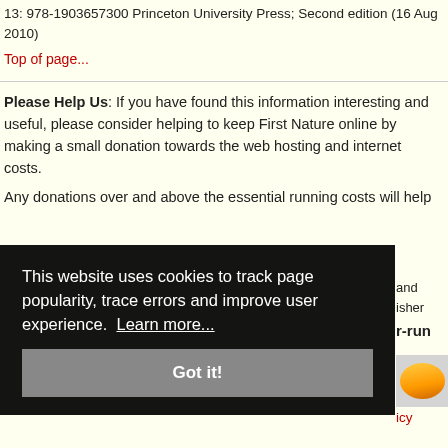13: 978-1903657300 Princeton University Press; Second edition (16 Aug 2010)
Top of page...
Please Help Us: If you have found this information interesting and useful, please consider helping to keep First Nature online by making a small donation towards the web hosting and internet costs.
Any donations over and above the essential running costs will help
[Figure (screenshot): Cookie consent overlay with dark background. Text reads: 'This website uses cookies to track page popularity, trace errors and improve user experience. Learn more...' with a 'Got it!' button below.]
r-run
icy